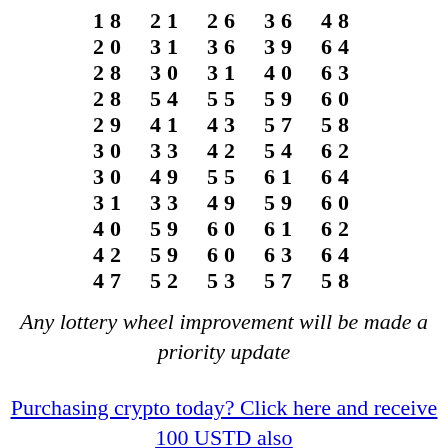| 18 | 21 | 26 | 36 | 48 |
| 20 | 31 | 36 | 39 | 64 |
| 28 | 30 | 31 | 40 | 63 |
| 28 | 54 | 55 | 59 | 60 |
| 29 | 41 | 43 | 57 | 58 |
| 30 | 33 | 42 | 54 | 62 |
| 30 | 49 | 55 | 61 | 64 |
| 31 | 33 | 49 | 59 | 60 |
| 40 | 59 | 60 | 61 | 62 |
| 42 | 59 | 60 | 63 | 64 |
| 47 | 52 | 53 | 57 | 58 |
Any lottery wheel improvement will be made a priority update
Purchasing crypto today? Click here and receive 100 USTD also